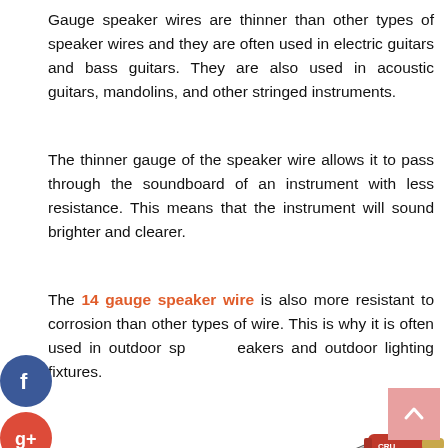Gauge speaker wires are thinner than other types of speaker wires and they are often used in electric guitars and bass guitars. They are also used in acoustic guitars, mandolins, and other stringed instruments.
The thinner gauge of the speaker wire allows it to pass through the soundboard of an instrument with less resistance. This means that the instrument will sound brighter and clearer.
The 14 gauge speaker wire is also more resistant to corrosion than other types of wire. This is why it is often used in outdoor speakers and outdoor lighting fixtures.
[Figure (photo): A braided black and white speaker wire with a red and gold banana plug connector labeled CRU]